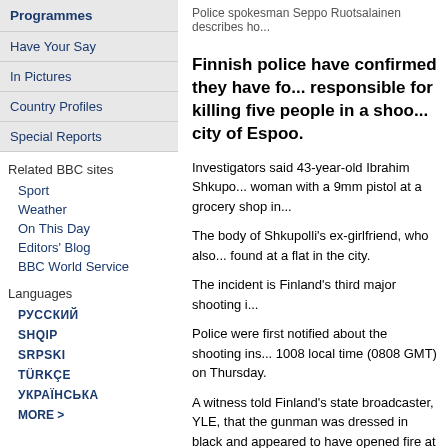Programmes
Have Your Say
In Pictures
Country Profiles
Special Reports
Related BBC sites
Sport
Weather
On This Day
Editors' Blog
BBC World Service
Languages
РУССКИЙ
SHQIP
SRPSKI
TÜRKÇE
УКРАЇНСЬКА
MORE >
Police spokesman Seppo Ruotsalainen describes ho...
Finnish police have confirmed they have found the man responsible for killing five people in a shooting in the city of Espoo.
Investigators said 43-year-old Ibrahim Shkupolli shot the woman with a 9mm pistol at a grocery shop in...
The body of Shkupolli's ex-girlfriend, who also found at a flat in the city.
The incident is Finland's third major shooting i...
Police were first notified about the shooting ins... 1008 local time (0808 GMT) on Thursday.
A witness told Finland's state broadcaster, YLE, that the gunman was dressed in black and appeared to have opened fire at random, hitting one man in the head and a woman in the stomach.